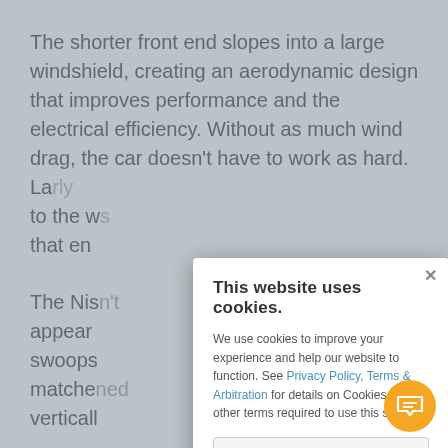The shorter front end slopes into a large windshield, creating an aerodynamic design that improves performance and the electrical efficiency. Without as much wind drag, the car doesn't have to work as hard. La[...] rly to the w[...] s that en[...]
The Nis[...] n't appear [...] swoops [...] matche[...] ned verticall[...]
The inte[...] conservative than the outside, but it is cozy and
[Figure (screenshot): Cookie consent modal dialog overlaid on the page. Title: 'This website uses cookies.' Body: 'We use cookies to improve your experience and help our website to function. See Privacy Policy, Terms & Arbitration for details on Cookies and other terms required to use this site.' Two buttons: 'Accept Cookies & Policies' and 'More Information'. A 'Privacy Policy' link at the bottom. Close (×) button in top right.]